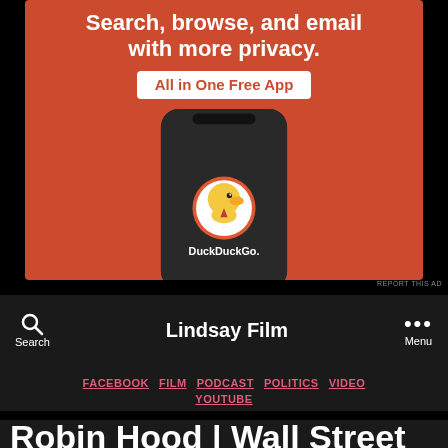[Figure (screenshot): DuckDuckGo advertisement on orange background showing a smartphone with the DuckDuckGo app logo and name, with text 'Search, browse, and email with more privacy. All in One Free App']
REPORT THIS AD
Search  Lindsay Film  Menu
FACEBOOK FILM PODCAST POLITICS VIDEO YOUTUBE
Robin Hood | Wall Street